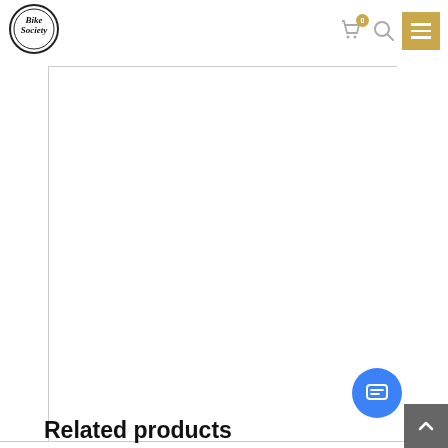[Figure (logo): Bike Society circular logo with black border and stylized text]
[Figure (other): Empty white product image area with left, top, and bottom border lines]
Related products